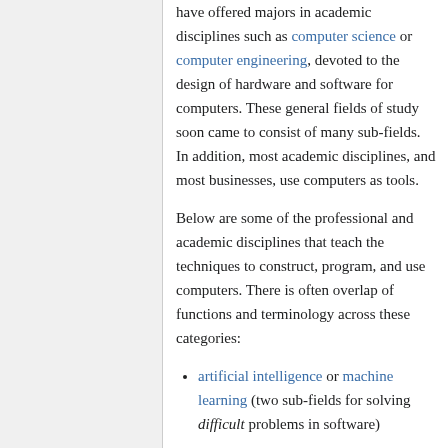have offered majors in academic disciplines such as computer science or computer engineering, devoted to the design of hardware and software for computers. These general fields of study soon came to consist of many sub-fields. In addition, most academic disciplines, and most businesses, use computers as tools.
Below are some of the professional and academic disciplines that teach the techniques to construct, program, and use computers. There is often overlap of functions and terminology across these categories:
artificial intelligence or machine learning (two sub-fields for solving difficult problems in software)
computer architecture (the study of how computers work, and how